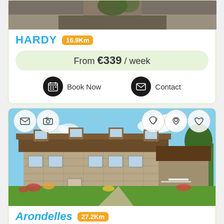[Figure (photo): Top portion of a property photo, partially cropped]
HARDY 16.9Km
From €339 / week
Book Now   Contact
[Figure (photo): Farmhouse property called Arondelles - stone building with brown roof, garden with flowers, blue sky]
Arondelles 27.2Km
From €56 / night